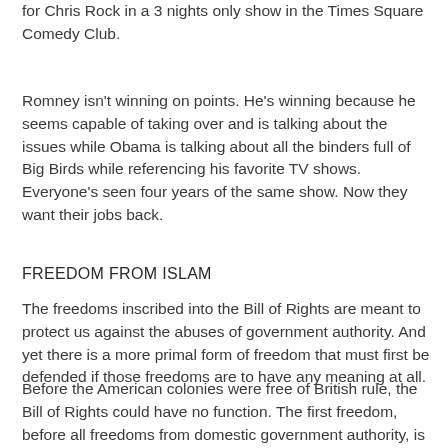for Chris Rock in a 3 nights only show in the Times Square Comedy Club.
Romney isn't winning on points. He's winning because he seems capable of taking over and is talking about the issues while Obama is talking about all the binders full of Big Birds while referencing his favorite TV shows. Everyone's seen four years of the same show. Now they want their jobs back.
FREEDOM FROM ISLAM
The freedoms inscribed into the Bill of Rights are meant to protect us against the abuses of government authority. And yet there is a more primal form of freedom that must first be defended if those freedoms are to have any meaning at all.
Before the American colonies were free of British rule, the Bill of Rights could have no function. The first freedom, before all freedoms from domestic government authority, is the freedom from rule by external oppressive forces. Only